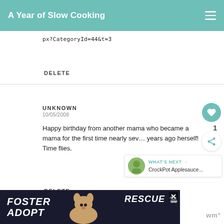A Year of Slow Cooking
px?CategoryId=44&t=3
DELETE
UNKNOWN
10/05/2008
Happy birthday from another mama who became a mama for the first time nearly seven years ago herself! Time flies.
DELETE
[Figure (other): Advertisement banner: FOSTER ADOPT ADVOCATE with dog image and close button]